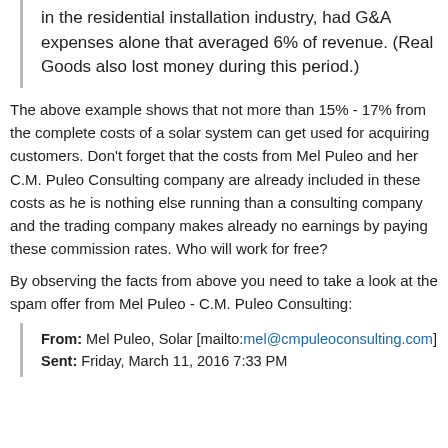in the residential installation industry, had G&A expenses alone that averaged 6% of revenue. (Real Goods also lost money during this period.)
The above example shows that not more than 15% - 17% from the complete costs of a solar system can get used for acquiring customers. Don't forget that the costs from Mel Puleo and her C.M. Puleo Consulting company are already included in these costs as he is nothing else running than a consulting company and the trading company makes already no earnings by paying these commission rates. Who will work for free?
By observing the facts from above you need to take a look at the spam offer from Mel Puleo - C.M. Puleo Consulting:
From: Mel Puleo, Solar [mailto:mel@cmpuleoconsulting.com] Sent: Friday, March 11, 2016 7:33 PM